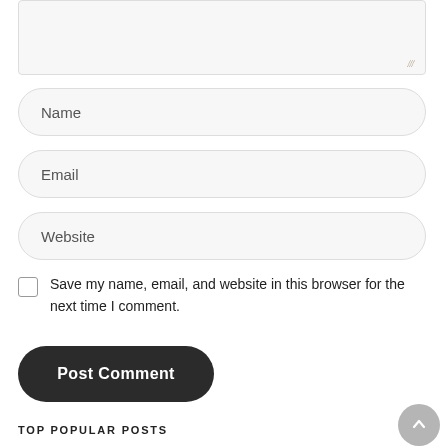[Figure (screenshot): Textarea input field (comment box), partially visible at top of page, with resize handle at bottom-right]
Name
Email
Website
Save my name, email, and website in this browser for the next time I comment.
Post Comment
TOP POPULAR POSTS
Download GTA San Andreas Apk+OBB